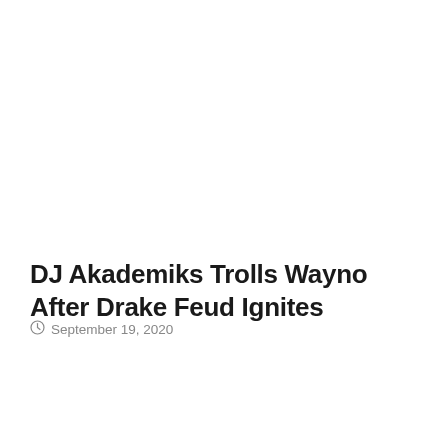DJ Akademiks Trolls Wayno After Drake Feud Ignites
September 19, 2020